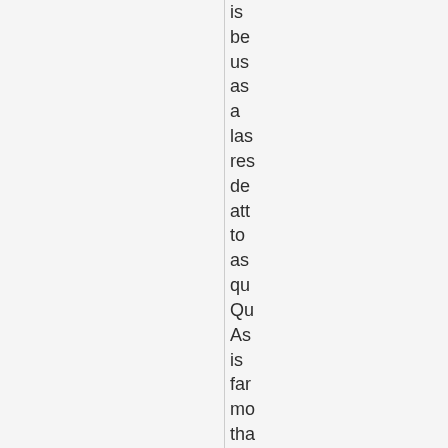is be us as a las res de att to as qu Qu As is far mo tha 'te an it